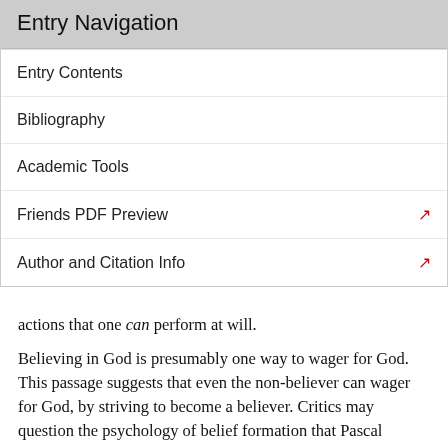Entry Navigation
Entry Contents
Bibliography
Academic Tools
Friends PDF Preview
Author and Citation Info
actions that one can perform at will.
Believing in God is presumably one way to wager for God. This passage suggests that even the non-believer can wager for God, by striving to become a believer. Critics may question the psychology of belief formation that Pascal presupposes, pointing out that one could strive to believe (perhaps by following exactly Pascal's prescription), yet fail. To this, a follower of Pascal might reply that the act of genuine striving already displays a pureness of heart that God would fully reward; or even